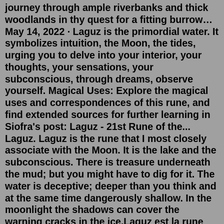journey through ample riverbanks and thick woodlands in thy quest for a fitting burrow…May 14, 2022 · Laguz is the primordial water. It symbolizes intuition, the Moon, the tides, urging you to delve into your interior, your thoughts, your sensations, your subconscious, through dreams, observe yourself. Magical Uses: Explore the magical uses and correspondences of this rune, and find extended sources for further learning in Siofra's post: Laguz - 21st Rune of the... Laguz. Laguz is the rune that I most closely associate with the Moon. It is the lake and the subconscious. There is treasure underneath the mud; but you might have to dig for it. The water is deceptive; deeper than you think and at the same time dangerously shallow. In the moonlight the shadows can cover the warning cracks in the ice.Laguz est la rune des émotions et des intuitions. Tel un bateau, il est ballotté par la tempête en mer. Cette rune nous apprend à nous abandonner aux choses de la vie, et nous conduit vers le changement